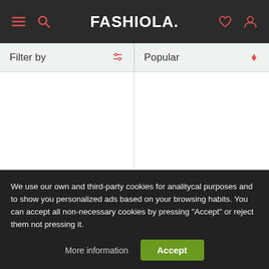FASHIOLA.
Filter by | Popular
₹ 29,309.91
Diesel
Asymmetric T-shirt dress
₹ 1,27,462.15
AZ FACTORY
Sundance asymmetric m...
We use our own and third-party cookies for analitycal purposes and to show you personalized ads based on your browsing habits. You can accept all non-necessary cookies by pressing "Accept" or reject them not pressing it.
More information | Accept